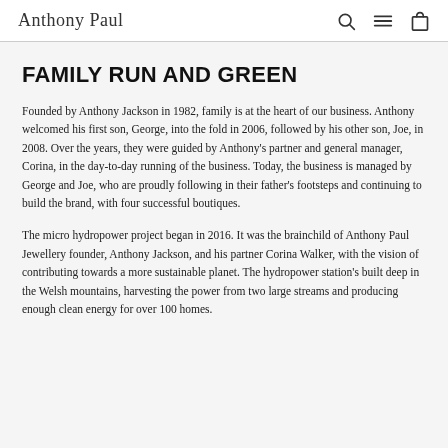Anthony Paul
FAMILY RUN AND GREEN
Founded by Anthony Jackson in 1982, family is at the heart of our business. Anthony welcomed his first son, George, into the fold in 2006, followed by his other son, Joe, in 2008. Over the years, they were guided by Anthony's partner and general manager, Corina, in the day-to-day running of the business. Today, the business is managed by George and Joe, who are proudly following in their father's footsteps and continuing to build the brand, with four successful boutiques.
The micro hydropower project began in 2016. It was the brainchild of Anthony Paul Jewellery founder, Anthony Jackson, and his partner Corina Walker, with the vision of contributing towards a more sustainable planet. The hydropower station's built deep in the Welsh mountains, harvesting the power from two large streams and producing enough clean energy for over 100 homes.